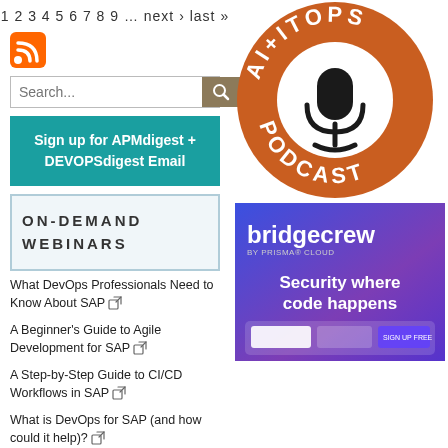1 2 3 4 5 6 7 8 9 … next › last »
[Figure (logo): RSS feed orange icon]
Search...
Sign up for APMdigest + DEVOPSdigest Email
ON-DEMAND WEBINARS
What DevOps Professionals Need to Know About SAP
A Beginner's Guide to Agile Development for SAP
A Step-by-Step Guide to CI/CD Workflows in SAP
What is DevOps for SAP (and how could it help)?
[Figure (logo): AI+ITOps Podcast circular orange logo with microphone]
[Figure (infographic): Bridgecrew by Prisma Cloud ad - Security where code happens]